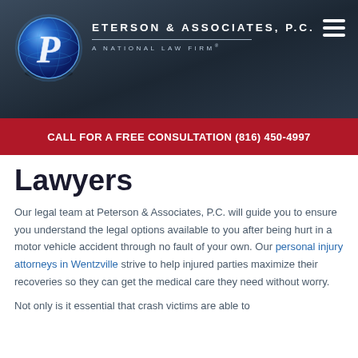[Figure (logo): Peterson & Associates P.C. logo with globe and stylized P, A National Law Firm]
CALL FOR A FREE CONSULTATION (816) 450-4997
Lawyers
Our legal team at Peterson & Associates, P.C. will guide you to ensure you understand the legal options available to you after being hurt in a motor vehicle accident through no fault of your own. Our personal injury attorneys in Wentzville strive to help injured parties maximize their recoveries so they can get the medical care they need without worry.
Not only is it essential that crash victims are able to